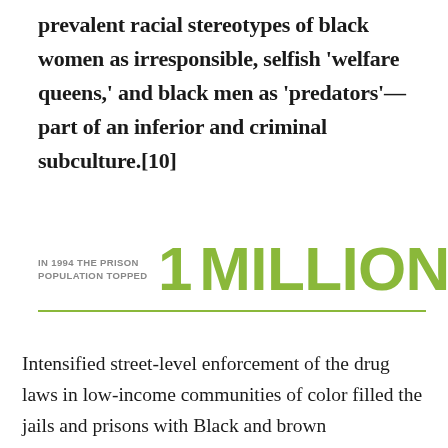prevalent racial stereotypes of black women as irresponsible, selfish 'welfare queens,' and black men as 'predators'—part of an inferior and criminal subculture.[10]
[Figure (infographic): Statistical callout: IN 1994 THE PRISON POPULATION TOPPED 1 MILLION, displayed in large green bold text with a green horizontal rule beneath]
Intensified street-level enforcement of the drug laws in low-income communities of color filled the jails and prisons with Black and brown